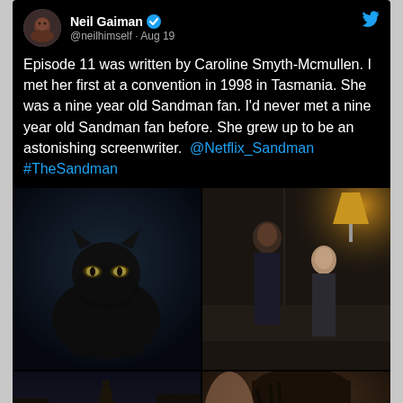[Figure (screenshot): Tweet screenshot from @neilhimself (Neil Gaiman) dated Aug 19. Text: 'Episode 11 was written by Caroline Smyth-Mcmullen. I met her first at a convention in 1998 in Tasmania. She was a nine year old Sandman fan. I'd never met a nine year old Sandman fan before. She grew up to be an astonishing screenwriter. @Netflix_Sandman #TheSandman'. Below tweet text are four images: a black cat with glowing eyes, two people standing in a dimly lit room, a nighttime Paris street with Eiffel Tower, and a close-up of a young person's face.]